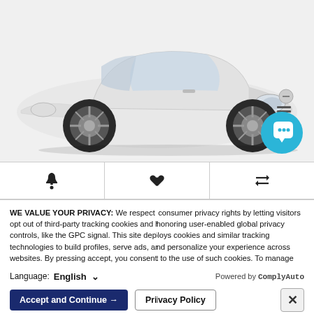[Figure (photo): White Nissan Altima sedan photographed from a front-three-quarter angle on a white/light gray background. A teal circular chat bubble icon is overlaid in the bottom-right corner of the image.]
[Figure (infographic): Icon bar with three cells: a bell (notification) icon, a heart (favorite) icon, and a double-arrow (compare) icon, separated by vertical dividers.]
WE VALUE YOUR PRIVACY: We respect consumer privacy rights by letting visitors opt out of third-party tracking cookies and honoring user-enabled global privacy controls, like the GPC signal. This site deploys cookies and similar tracking technologies to build profiles, serve ads, and personalize your experience across websites. By pressing accept, you consent to the use of such cookies. To manage your privacy rights or view the categories of personal information we collect and the purposes for which the information is used, click here.
Language:  English  Powered by ComplyAuto
Accept and Continue →   Privacy Policy   ×